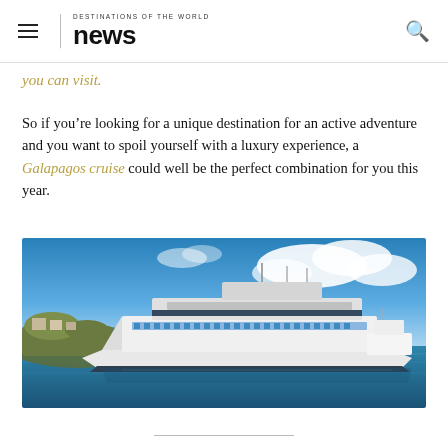DESTINATIONS OF THE WORLD news
you can visit.
So if you’re looking for a unique destination for an active adventure and you want to spoil yourself with a luxury experience, a Galapagos cruise could well be the perfect combination for you this year.
[Figure (photo): A large white luxury cruise ship docked in calm turquoise harbor waters under a bright blue sky with white clouds. Rocky island vegetation visible on the left, another smaller vessel visible in the background right.]